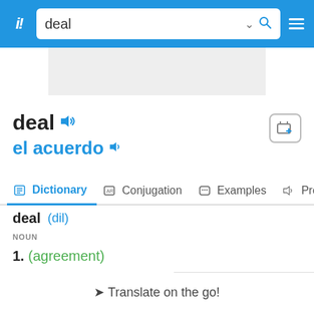deal
[Figure (screenshot): Ad placeholder banner]
deal  el acuerdo
Dictionary  Conjugation  Examples  Pronunc
deal  (dil)
NOUN
1.  (agreement)
Translate on the go!